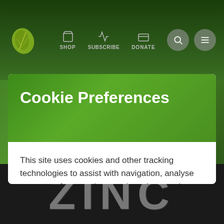[Figure (screenshot): Website navigation bar with dark green background, leaf logo on left, SHOP, SUBSCRIBE, DONATE navigation items with icons, search and menu icons on right]
Cookie Preferences
This site uses cookies and other tracking technologies to assist with navigation, analyse your use of our products and services, and provide content from third parties.
OPTIONS
ACCEPT ALL
[Figure (photo): Dark background with the letters Z I N C made from small balls/seeds]